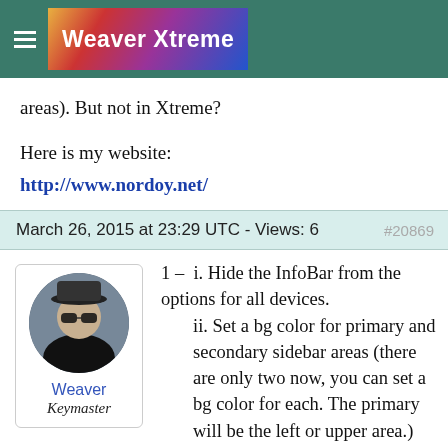Weaver Xtreme
areas). But not in Xtreme?

Here is my website:
http://www.nordoy.net/
March 26, 2015 at 23:29 UTC - Views: 6  #20869
[Figure (photo): Round avatar photo of a person wearing a black hat and sunglasses]
Weaver
Keymaster
1 –  i. Hide the InfoBar from the options for all devices.
     ii. Set a bg color for primary and secondary sidebar areas (there are only two now, you can set a bg color for each. The primary will be the left or upper area.)
    iii. On the sidebars and layout tab, at the bottom of the Sidebar layout option, check the Flow color to